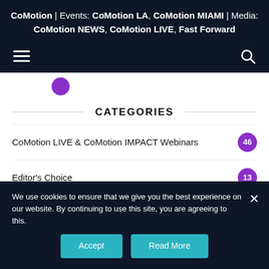CoMotion | Events: CoMotion LA, CoMotion MIAMI | Media: CoMotion NEWS, CoMotion LIVE, Fast Forward
CATEGORIES
CoMotion LIVE & CoMotion IMPACT Webinars 46
Editor's Choice 13
Future Mobility 15
We use cookies to ensure that we give you the best experience on our website. By continuing to use this site, you are agreeing to this.